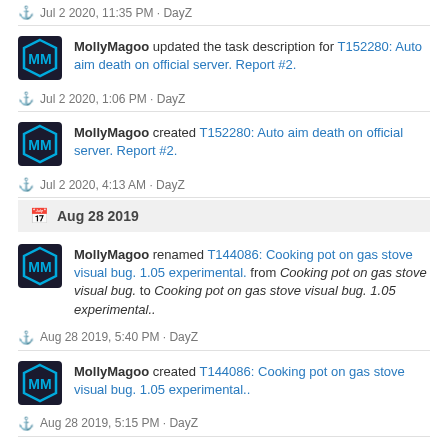Jul 2 2020, 11:35 PM · DayZ
MollyMagoo updated the task description for T152280: Auto aim death on official server. Report #2.
Jul 2 2020, 1:06 PM · DayZ
MollyMagoo created T152280: Auto aim death on official server. Report #2.
Jul 2 2020, 4:13 AM · DayZ
Aug 28 2019
MollyMagoo renamed T144086: Cooking pot on gas stove visual bug. 1.05 experimental. from Cooking pot on gas stove visual bug. to Cooking pot on gas stove visual bug. 1.05 experimental..
Aug 28 2019, 5:40 PM · DayZ
MollyMagoo created T144086: Cooking pot on gas stove visual bug. 1.05 experimental..
Aug 28 2019, 5:15 PM · DayZ